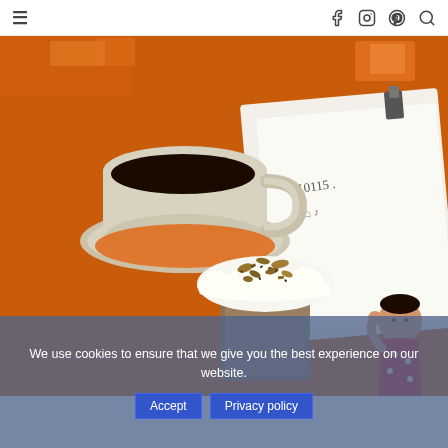Navigation bar with hamburger menu, Facebook, Instagram, Pinterest icons and search icon
[Figure (photo): Overhead view of a coffee cup with black coffee on a saucer and an orange table surface, alongside a whipped cream topped drink with chopped nuts, and a notepad/book with handwriting visible. A cartoon figure illustration is partially visible on the right side.]
We use cookies to ensure that we give you the best experience on our website.
Accept   Privacy policy